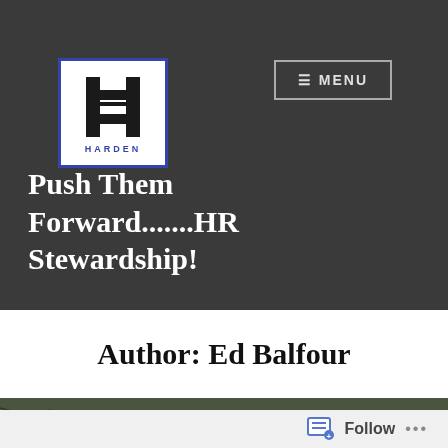[Figure (logo): Harden logo: white box with blue border, large H letterform in black, word HARDEN in blue below]
≡ MENU
Push Them Forward.......HR Stewardship!
Author: Ed Balfour
[Figure (photo): Close-up photograph of cracked dry earth/mud with a pink flower or organic object emerging from a crack]
Follow ...